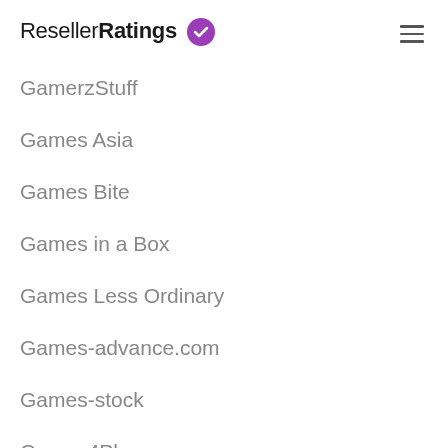ResellerRatings
GamerzStuff
Games Asia
Games Bite
Games in a Box
Games Less Ordinary
Games-advance.com
Games-stock
Games4Play